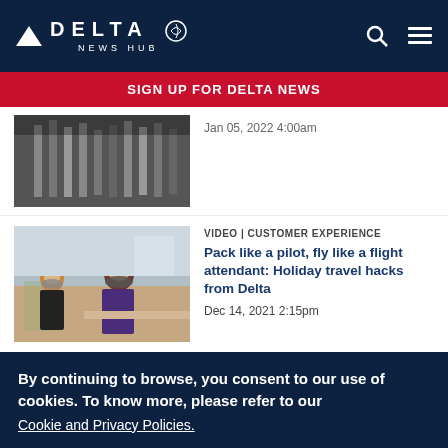DELTA NEWS HUB
SIGN UP FOR DELTA NEWS
[Figure (photo): Partial view of an industrial or airport structure, partially visible at top of page]
Jan 05, 2022 4:00am
[Figure (photo): Two Delta airline employees wearing masks at an airport counter, one helping a customer]
VIDEO  |  CUSTOMER EXPERIENCE
Pack like a pilot, fly like a flight attendant: Holiday travel hacks from Delta
Dec 14, 2021 2:15pm
By continuing to browse, you consent to our use of cookies. To know more, please refer to our Cookie and Privacy Policies.
I AGREE
No, thanks